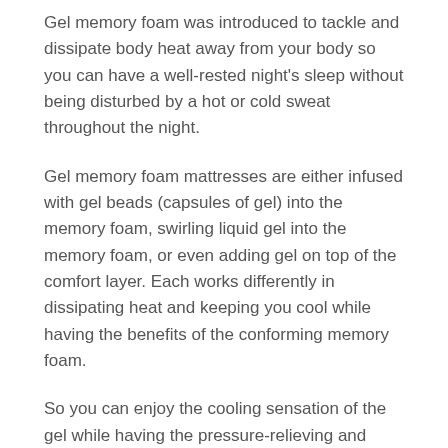Gel memory foam was introduced to tackle and dissipate body heat away from your body so you can have a well-rested night's sleep without being disturbed by a hot or cold sweat throughout the night.
Gel memory foam mattresses are either infused with gel beads (capsules of gel) into the memory foam, swirling liquid gel into the memory foam, or even adding gel on top of the comfort layer. Each works differently in dissipating heat and keeping you cool while having the benefits of the conforming memory foam.
So you can enjoy the cooling sensation of the gel while having the pressure-relieving and conforming features of the memory foam as a whole without feeling too hot throughout the night.